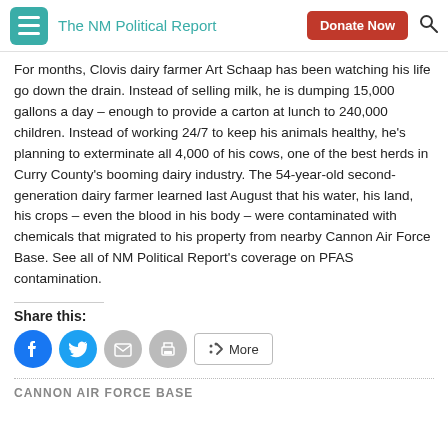The NM Political Report
For months, Clovis dairy farmer Art Schaap has been watching his life go down the drain. Instead of selling milk, he is dumping 15,000 gallons a day – enough to provide a carton at lunch to 240,000 children. Instead of working 24/7 to keep his animals healthy, he's planning to exterminate all 4,000 of his cows, one of the best herds in Curry County's booming dairy industry. The 54-year-old second-generation dairy farmer learned last August that his water, his land, his crops – even the blood in his body – were contaminated with chemicals that migrated to his property from nearby Cannon Air Force Base. See all of NM Political Report's coverage on PFAS contamination.
Share this:
CANNON AIR FORCE BASE